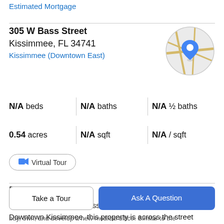Estimated Mortgage
305 W Bass Street
Kissimmee, FL 34741
Kissimmee (Downtown East)
[Figure (map): Circular map thumbnail showing street map with a blue location pin marker]
N/A beds   N/A baths   N/A ½ baths
0.54 acres   N/A sqft   N/A / sqft
Virtual Tour
Property Description
Located in the heart of Kissimmee's Medical Arts District in Downtown Kissimmee, this property is across the street
Take a Tour
Ask A Question
buy, own, and develop a new medical office. Similar to the